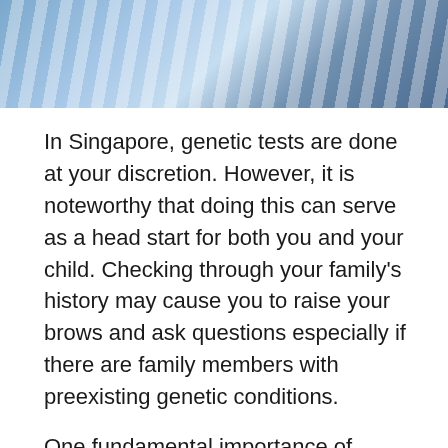[Figure (photo): Partial view of a baby or infant wearing blue and white striped clothing, cropped at the top of the page.]
In Singapore, genetic tests are done at your discretion. However, it is noteworthy that doing this can serve as a head start for both you and your child. Checking through your family's history may cause you to raise your brows and ask questions especially if there are family members with preexisting genetic conditions.
One fundamental importance of going through genetic screening is to keep you abreast of any possible conditions so that you're not taken by surprise.  This is so that you may engage in the various preventive healthcare methods to better